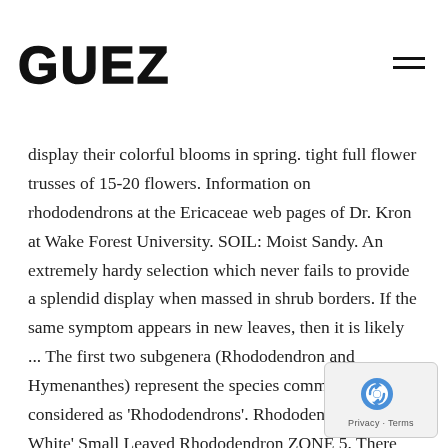GUEZ
display their colorful blooms in spring. tight full flower trusses of 15-20 flowers. Information on rhododendrons at the Ericaceae web pages of Dr. Kron at Wake Forest University. SOIL: Moist Sandy. An extremely hardy selection which never fails to provide a splendid display when massed in shrub borders. If the same symptom appears in new leaves, then it is likely ... The first two subgenera (Rhododendron and Hymenanthes) represent the species commonly considered as 'Rhododendrons'. Rhododendron 'April White' Small Leaved Rhododendron ZONE 5. There are actually several reasons rhodies might start looking a little unhappy, depending on the season. Blooming in early to mid spring, this